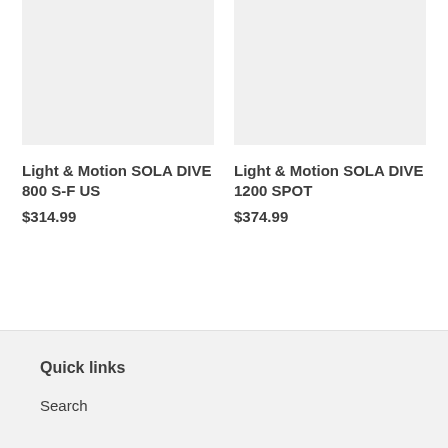[Figure (photo): Product image placeholder for Light & Motion SOLA DIVE 800 S-F US, light gray background]
[Figure (photo): Product image placeholder for Light & Motion SOLA DIVE 1200 SPOT, light gray background]
Light & Motion SOLA DIVE 800 S-F US
$314.99
Light & Motion SOLA DIVE 1200 SPOT
$374.99
Quick links
Search